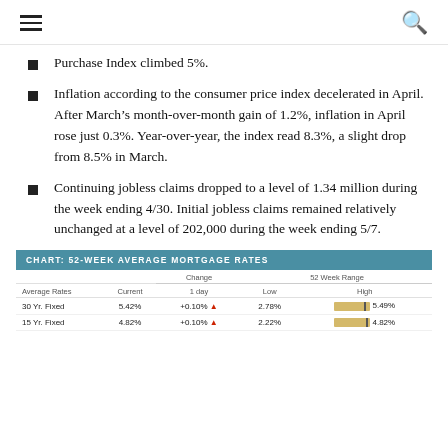≡ [hamburger menu] [search icon]
Purchase Index climbed 5%.
Inflation according to the consumer price index decelerated in April. After March's month-over-month gain of 1.2%, inflation in April rose just 0.3%. Year-over-year, the index read 8.3%, a slight drop from 8.5% in March.
Continuing jobless claims dropped to a level of 1.34 million during the week ending 4/30. Initial jobless claims remained relatively unchanged at a level of 202,000 during the week ending 5/7.
| Average Rates | Current | 1 day | Low | High |
| --- | --- | --- | --- | --- |
| 30 Yr. Fixed | 5.42% | +0.10% ▲ | 2.78% | 5.49% |
| 15 Yr. Fixed | 4.82% | +0.10% ▲ | 2.22% | 4.82% |